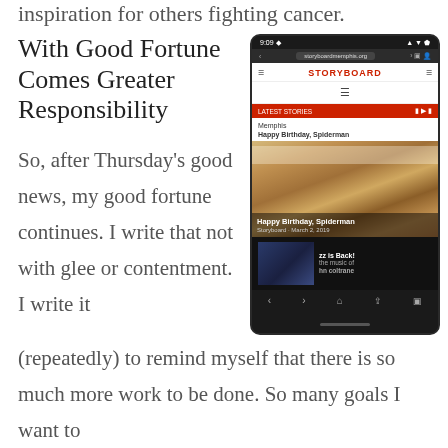inspiration for others fighting cancer.
With Good Fortune Comes Greater Responsibility
[Figure (screenshot): Mobile phone screenshot of the Storyboard Memphis website showing a news article page with a cake photo captioned 'Happy Birthday, Spiderman' and a bottom strip about jazz featuring John Coltrane.]
So, after Thursday's good news, my good fortune continues. I write that not with glee or contentment. I write it (repeatedly) to remind myself that there is so much more work to be done. So many goals I want to